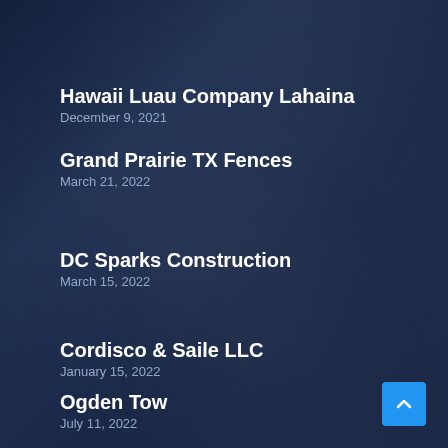Hawaii Luau Company Lahaina
December 9, 2021
Grand Prairie TX Fences
March 21, 2022
DC Sparks Construction
March 15, 2022
Cordisco & Saile LLC
January 15, 2022
Ogden Tow
July 11, 2022